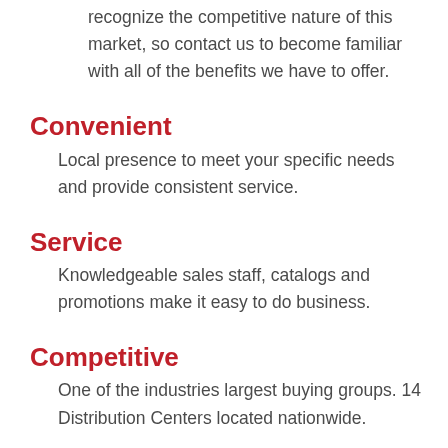recognize the competitive nature of this market, so contact us to become familiar with all of the benefits we have to offer.
Convenient
Local presence to meet your specific needs and provide consistent service.
Service
Knowledgeable sales staff, catalogs and promotions make it easy to do business.
Competitive
One of the industries largest buying groups. 14 Distribution Centers located nationwide.